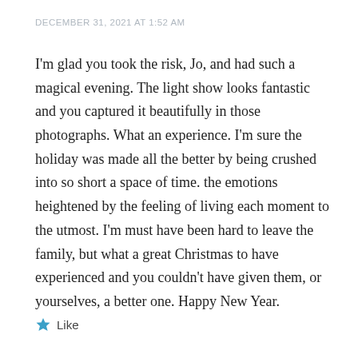DECEMBER 31, 2021 AT 1:52 AM
I'm glad you took the risk, Jo, and had such a magical evening. The light show looks fantastic and you captured it beautifully in those photographs. What an experience. I'm sure the holiday was made all the better by being crushed into so short a space of time. the emotions heightened by the feeling of living each moment to the utmost. I'm must have been hard to leave the family, but what a great Christmas to have experienced and you couldn't have given them, or yourselves, a better one. Happy New Year.
Like